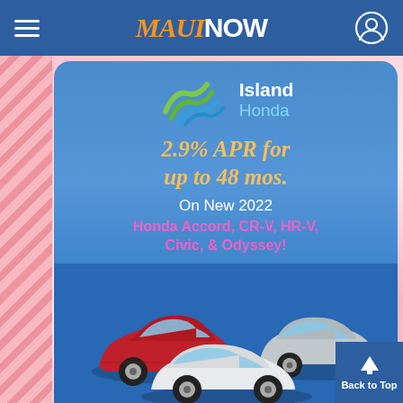MAUI NOW navigation bar with hamburger menu and user icon
[Figure (infographic): Island Honda advertisement on MauiNow website. Blue rounded rectangle ad card showing Island Honda logo (green/blue wave graphic with 'Island Honda' text), orange italic text '2.9% APR for up to 48 mos.', white text 'On New 2022', pink bold text 'Honda Accord, CR-V, HR-V, Civic, & Odyssey!', and three Honda vehicles at bottom (red sedan, silver SUV, white minivan). Pink floral background visible behind ad. Blue 'Back to Top' button with arrow in bottom right corner.]